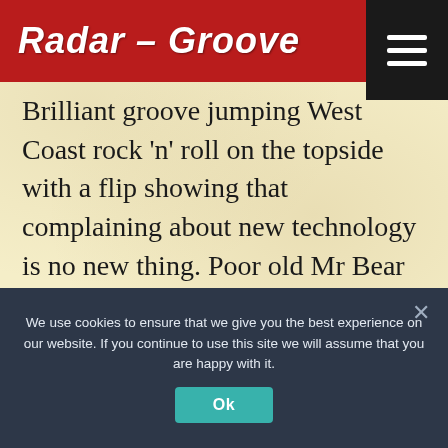Radar – Groove
Brilliant groove jumping West Coast rock 'n' roll on the topside with a flip showing that complaining about new technology is no new thing. Poor old Mr Bear is persecuted by cops, his wife and his girlfriend by radar over a slow Latin sax riff.
We use cookies to ensure that we give you the best experience on our website. If you continue to use this site we will assume that you are happy with it.